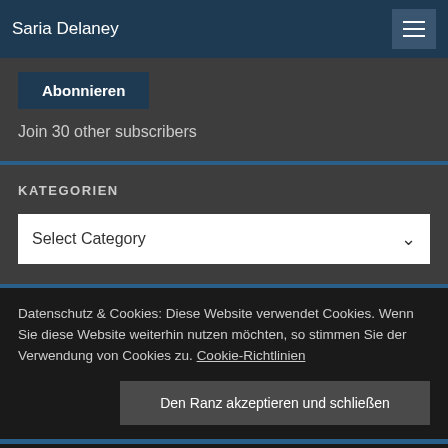Saria Delaney
Abonnieren
Join 30 other subscribers
KATEGORIEN
Select Category
Datenschutz & Cookies: Diese Website verwendet Cookies. Wenn Sie diese Website weiterhin nutzen möchten, so stimmen Sie der Verwendung von Cookies zu. Cookie-Richtlinien
Den Ranz akzeptieren und schließen